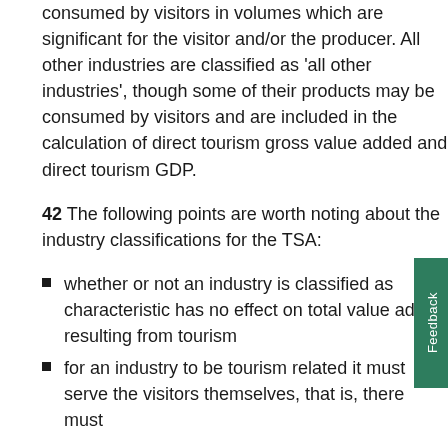consumed by visitors in volumes which are significant for the visitor and/or the producer. All other industries are classified as 'all other industries', though some of their products may be consumed by visitors and are included in the calculation of direct tourism gross value added and direct tourism GDP.
42 The following points are worth noting about the industry classifications for the TSA:
whether or not an industry is classified as characteristic has no effect on total value added resulting from tourism
for an industry to be tourism related it must serve the visitors themselves, that is, there must